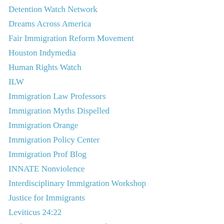Detention Watch Network
Dreams Across America
Fair Immigration Reform Movement
Houston Indymedia
Human Rights Watch
ILW
Immigration Law Professors
Immigration Myths Dispelled
Immigration Orange
Immigration Policy Center
Immigration Prof Blog
INNATE Nonviolence
Interdisciplinary Immigration Workshop
Justice for Immigrants
Leviticus 24:22
Lutheran Immigration & Refugee Service
Metta Center- Love in Action
Migra Matters
Migration Policy Institute
Minnesota Immigrant Rights Action Coalition